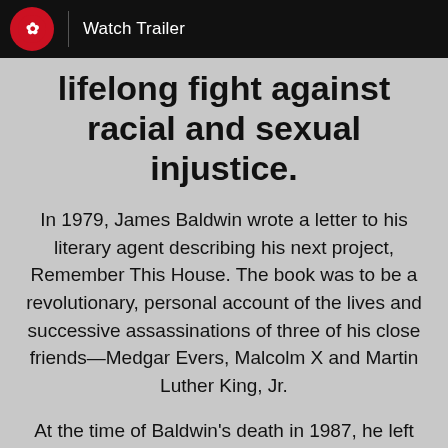Watch Trailer
lifelong fight against racial and sexual injustice.
In 1979, James Baldwin wrote a letter to his literary agent describing his next project, Remember This House. The book was to be a revolutionary, personal account of the lives and successive assassinations of three of his close friends—Medgar Evers, Malcolm X and Martin Luther King, Jr.
At the time of Baldwin's death in 1987, he left behind only thirty completed pages of his manuscript.
Now, in his incendiary new documentary, master filmmaker Raoul Peck envisions the book James Baldwin never finished. The result is a radical, up